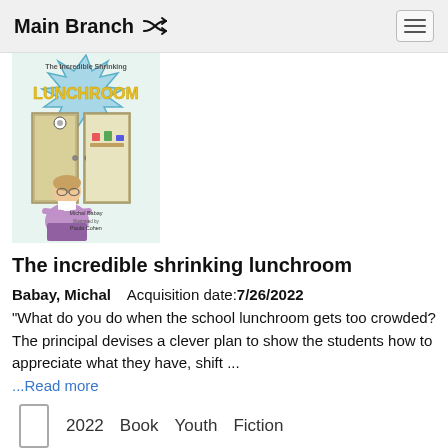Main Branch
[Figure (photo): Book cover of 'The Incredible Shrinking Lunchroom' by Michal Babay, illustrated by Paula Cohen. Colorful illustrated cover showing a school principal and children in a lunchroom.]
The incredible shrinking lunchroom
Babay, Michal    Acquisition date: 7/26/2022
"What do you do when the school lunchroom gets too crowded? The principal devises a clever plan to show the students how to appreciate what they have, shift ...
...Read more
2022   Book   Youth   Fiction